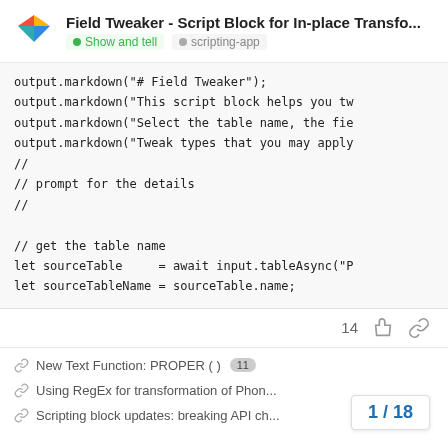Field Tweaker - Script Block for In-place Transfo... | Show and tell | scripting-app
[Figure (screenshot): Code block showing JavaScript scripting code with output.markdown calls and variable declarations]
14 (likes)
New Text Function: PROPER ( ) 11
Using RegEx for transformation of Phon...
Scripting block updates: breaking API ch...
1 / 18